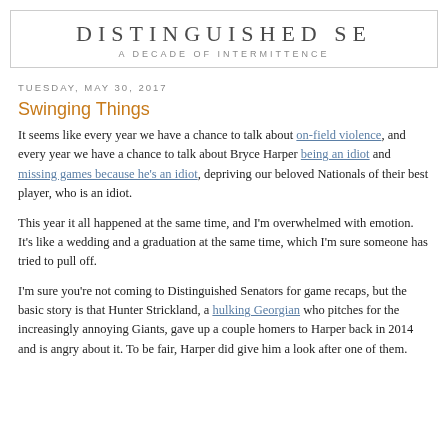DISTINGUISHED SE  A DECADE OF INTERMITTENCE
TUESDAY, MAY 30, 2017
Swinging Things
It seems like every year we have a chance to talk about on-field violence, and every year we have a chance to talk about Bryce Harper being an idiot and missing games because he's an idiot, depriving our beloved Nationals of their best player, who is an idiot.
This year it all happened at the same time, and I'm overwhelmed with emotion. It's like a wedding and a graduation at the same time, which I'm sure someone has tried to pull off.
I'm sure you're not coming to Distinguished Senators for game recaps, but the basic story is that Hunter Strickland, a hulking Georgian who pitches for the increasingly annoying Giants, gave up a couple homers to Harper back in 2014 and is angry about it. To be fair, Harper did give him a look after one of them.